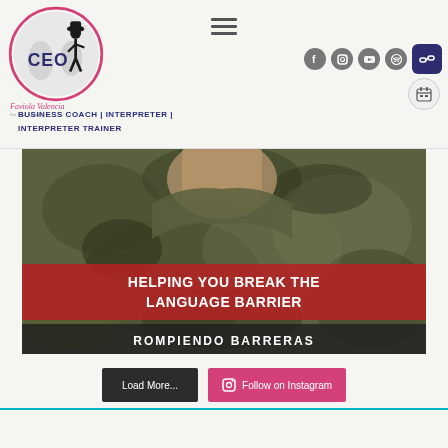[Figure (logo): CEO Faviola Valencia logo with circular emblem showing a female silhouette, text 'Faviola Valencia' in pink cursive and subtitle text below]
[Figure (infographic): Hamburger/menu icon (three horizontal lines) in center of header]
[Figure (infographic): Social media icons: Facebook, Instagram, YouTube, Spotify, and a link button icon, plus a calendar icon below]
BUSINESS COACH | INTERPRETER | INTERPRETER TRAINER
[Figure (photo): Video thumbnail showing a person in camouflage clothing with overlaid text banners: 'HELPING YOU BREAK THE LANGUAGE BARRIER' in red, and 'ROMPIENDO BARRERAS' in dark overlay at bottom]
Load More...
Follow on Instagram